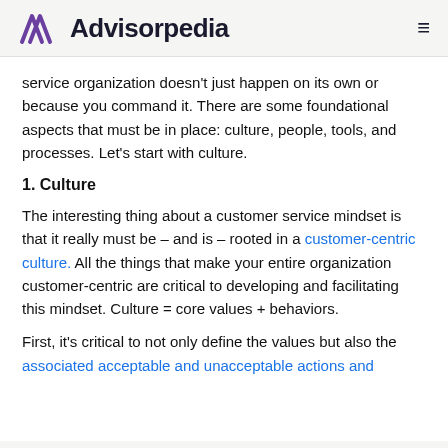Advisorpedia
service organization doesn't just happen on its own or because you command it. There are some foundational aspects that must be in place: culture, people, tools, and processes. Let's start with culture.
1. Culture
The interesting thing about a customer service mindset is that it really must be – and is – rooted in a customer-centric culture. All the things that make your entire organization customer-centric are critical to developing and facilitating this mindset. Culture = core values + behaviors.
First, it's critical to not only define the values but also the associated acceptable and unacceptable actions and